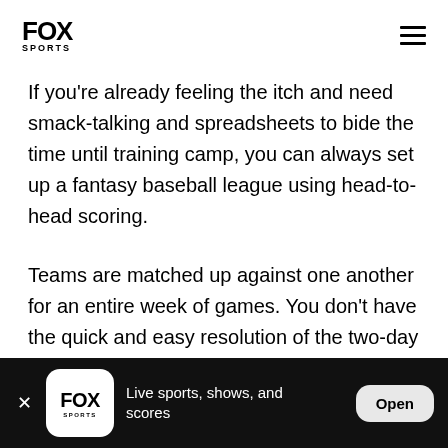FOX SPORTS
If you're already feeling the itch and need smack-talking and spreadsheets to bide the time until training camp, you can always set up a fantasy baseball league using head-to-head scoring.
Teams are matched up against one another for an entire week of games. You don't have the quick and easy resolution of the two-day competitions from fantasy football. Instead, you ride out the highs, lows,
Live sports, shows, and scores  Open